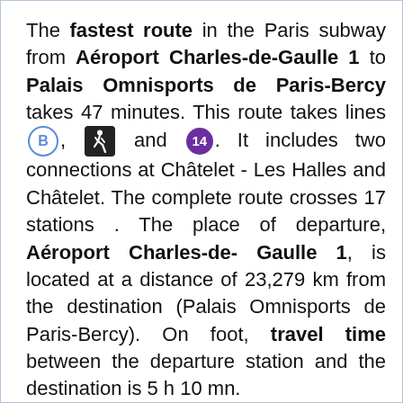The fastest route in the Paris subway from Aéroport Charles-de-Gaulle 1 to Palais Omnisports de Paris-Bercy takes 47 minutes. This route takes lines B, [walk icon], and 14. It includes two connections at Châtelet - Les Halles and Châtelet. The complete route crosses 17 stations . The place of departure, Aéroport Charles-de-Gaulle 1, is located at a distance of 23,279 km from the destination (Palais Omnisports de Paris-Bercy). On foot, travel time between the departure station and the destination is 5 h 10 mn.